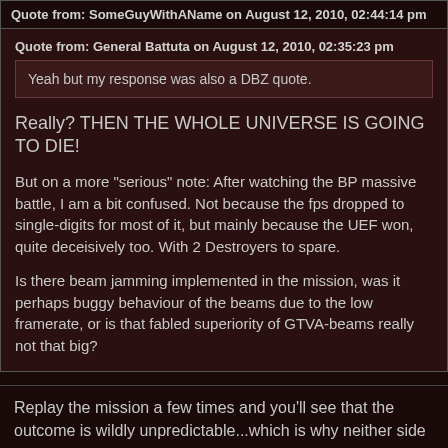Quote from: SomeGuyWithAName on August 12, 2010, 02:44:14 pm
Quote from: General Battuta on August 12, 2010, 02:35:23 pm
Yeah but my response was also a DBZ quote.
Really? THEN THE WHOLE UNIVERSE IS GOING TO DIE!
But on a more "serious" note: After watching the BP massive battle, I am a bit confused. Not because the fps dropped to single-digits for most of it, but mainly because the UEF won, quite deceisively too. With 2 Destroyers to spare.
Is there beam jamming implemented in the mission, was it perhaps buggy behaviour of the beams due to the low framerate, or is that fabled superiority of GTVA-beams really not that big?
Replay the mission a few times and you'll see that the outcome is wildly unpredictable...which is why neither side